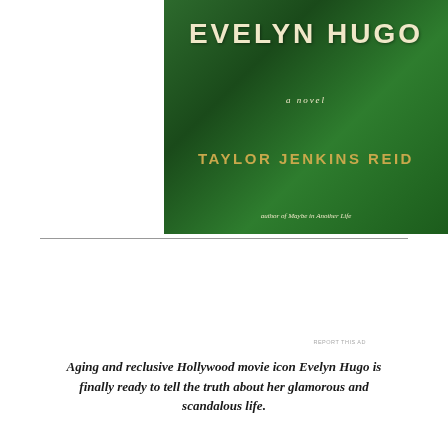[Figure (illustration): Book cover of 'The Seven Husbands of Evelyn Hugo' by Taylor Jenkins Reid. Dark green background with golden text reading 'EVELYN HUGO' at top, 'a novel' in italic below, 'TAYLOR JENKINS REID' in large gold letters, and 'author of Maybe in Another Life' at bottom.]
[Figure (other): Advertisement banner for Day One journaling app with light blue background, phone mockup on left, 'Your Journal for life' text in white, and DAYONE logo on right.]
Aging and reclusive Hollywood movie icon Evelyn Hugo is finally ready to tell the truth about her glamorous and scandalous life.